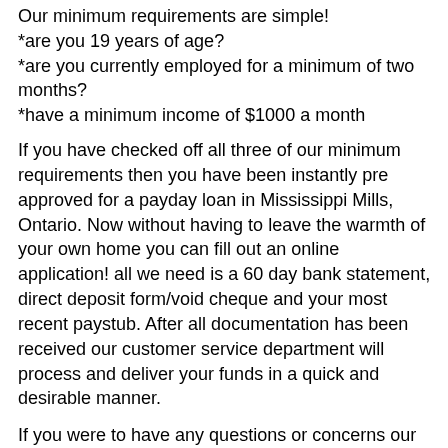Our minimum requirements are simple!
*are you 19 years of age?
*are you currently employed for a minimum of two months?
*have a minimum income of $1000 a month
If you have checked off all three of our minimum requirements then you have been instantly pre approved for a payday loan in Mississippi Mills, Ontario. Now without having to leave the warmth of your own home you can fill out an online application! all we need is a 60 day bank statement, direct deposit form/void cheque and your most recent paystub. After all documentation has been received our customer service department will process and deliver your funds in a quick and desirable manner.
If you were to have any questions or concerns our team will be able to answer any and all questions to help you by phone or email. Apply today and by the end of the business day you could have the funds you need without leaving the comforts of your home.